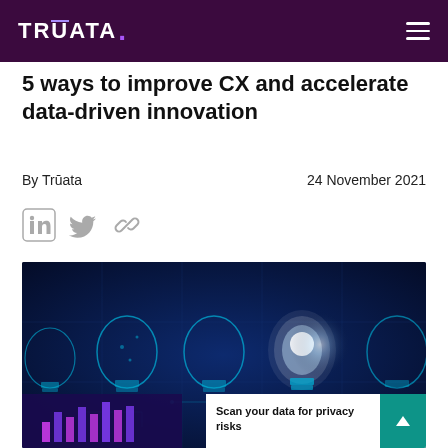TRŪATA.
5 ways to improve CX and accelerate data-driven innovation
By Trūata    24 November 2021
[Figure (illustration): Social sharing icons: LinkedIn, Twitter, and link/chain icon in grey]
[Figure (photo): Dark blue digital artwork showing five geometric light bulbs against a dark background with glowing circuit patterns; one bulb in the center-right glows brightly white. Overlaid in bottom-right corner is a CTA panel: 'Scan your data for privacy risks' with a teal arrow-up button.]
Scan your data for privacy risks